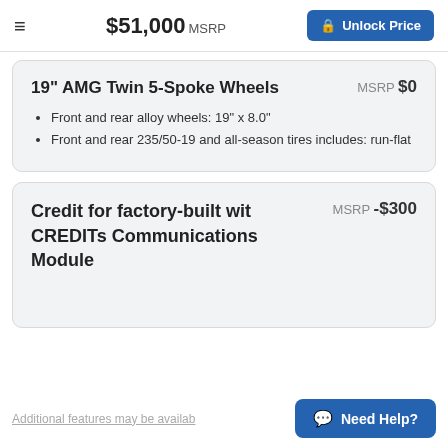$51,000 MSRP | Unlock Price
19" AMG Twin 5-Spoke Wheels — MSRP $0
Front and rear alloy wheels: 19" x 8.0"
Front and rear 235/50-19 and all-season tires includes: run-flat
Credit for factory-built wit CREDITs Communications Module — MSRP -$300
Additional features may be availab
Need Help?